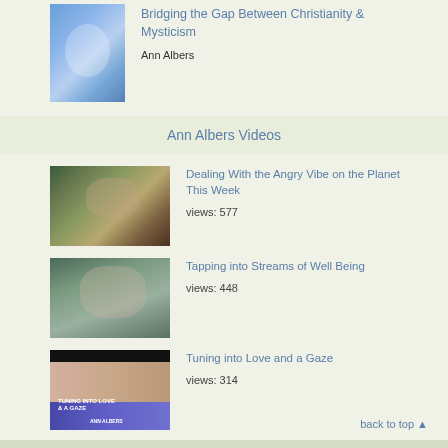[Figure (photo): Book cover thumbnail with blue gradient]
Bridging the Gap Between Christianity & Mysticism
Ann Albers
Ann Albers Videos
[Figure (photo): Video thumbnail showing woman with hands on face]
Dealing With the Angry Vibe on the Planet This Week
views: 577
[Figure (photo): Video thumbnail showing smiling woman]
Tapping into Streams of Well Being
views: 448
[Figure (photo): Video thumbnail with Ann Albers title card, purple and blue background]
Tuning into Love and a Gaze
views: 314
back to top ▲